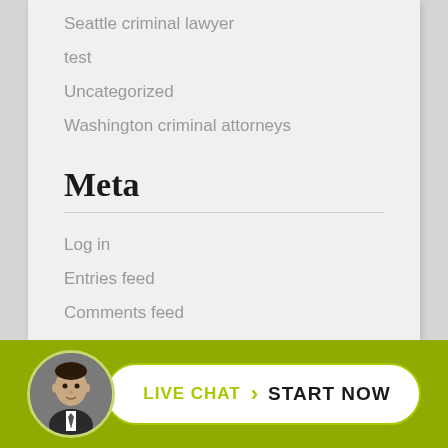Seattle criminal lawyer
test
Uncategorized
Washington criminal attorneys
Meta
Log in
Entries feed
Comments feed
WordPress.org
[Figure (infographic): Live chat call-to-action bar with a circular avatar photo of a man in a suit, and a white pill-shaped button reading 'LIVE CHAT > START NOW' on an olive/yellow-green background]